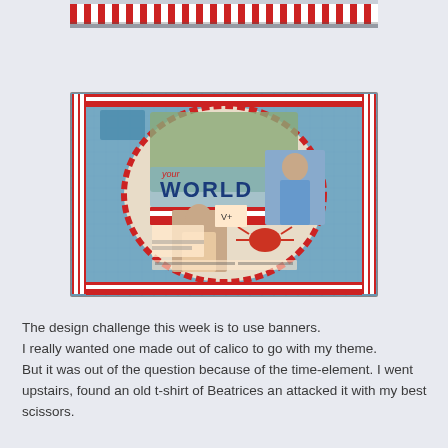[Figure (photo): Top partial photo showing red and white striped banner/fabric with triangular bunting pattern at top of page]
[Figure (photo): Main photo of a scrapbook layout page featuring red and white striped banners/fabric, with a circular scrapbook page saying 'YOUR WORLD' with photos of two girls and a crab graphic, placed on a blue mesh surface]
The design challenge this week is to use banners. I really wanted one made out of calico to go with my theme. But it was out of the question because of the time-element. I went upstairs, found an old t-shirt of Beatrices an attacked it with my best scissors.